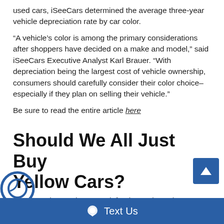used cars, iSeeCars determined the average three-year vehicle depreciation rate by car color.
“A vehicle’s color is among the primary considerations after shoppers have decided on a make and model,” said iSeeCars Executive Analyst Karl Brauer. “With depreciation being the largest cost of vehicle ownership, consumers should carefully consider their color choice–especially if they plan on selling their vehicle.”
Be sure to read the entire article here
Should We All Just Buy Yellow Cars?
e the numbers speak for themselves, there are